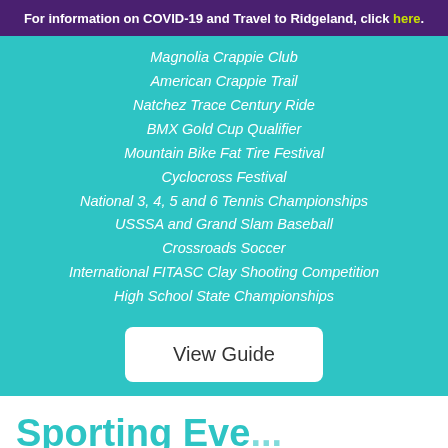For information on COVID-19 and Travel to Ridgeland, click here.
Magnolia Crappie Club
American Crappie Trail
Natchez Trace Century Ride
BMX Gold Cup Qualifier
Mountain Bike Fat Tire Festival
Cyclocross Festival
National 3, 4, 5 and 6 Tennis Championships
USSSA and Grand Slam Baseball
Crossroads Soccer
International FITASC Clay Shooting Competition
High School State Championships
View Guide
Sporting Events